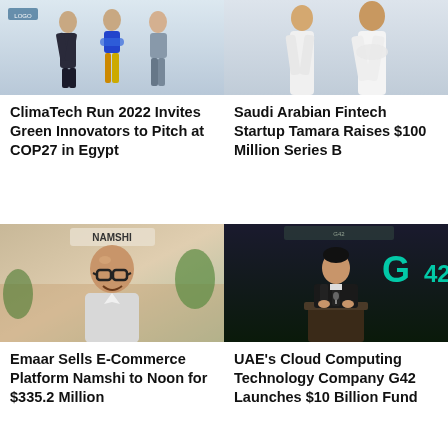[Figure (photo): Group of people standing for ClimaTech Run 2022 event photo]
ClimaTech Run 2022 Invites Green Innovators to Pitch at COP27 in Egypt
[Figure (photo): Saudi man in white traditional dress for Tamara fintech story]
Saudi Arabian Fintech Startup Tamara Raises $100 Million Series B
[Figure (photo): Bald man with glasses smiling, Namshi brand sign visible in background]
Emaar Sells E-Commerce Platform Namshi to Noon for $335.2 Million
[Figure (photo): Man speaking at podium with G42 logo in background at dark event]
UAE's Cloud Computing Technology Company G42 Launches $10 Billion Fund